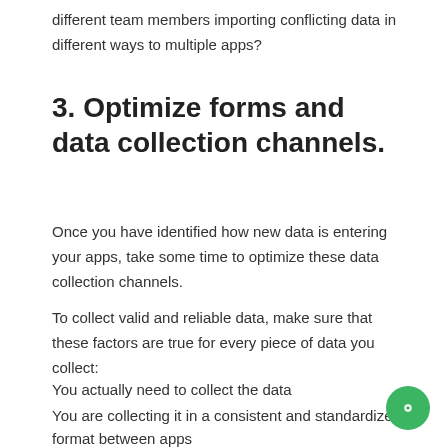different team members importing conflicting data in different ways to multiple apps?
3. Optimize forms and data collection channels.
Once you have identified how new data is entering your apps, take some time to optimize these data collection channels.
To collect valid and reliable data, make sure that these factors are true for every piece of data you collect:
You actually need to collect the data
You are collecting it in a consistent and standardized format between apps
You have clear permission to collect it based on data protection regulations
It will be stored and organized in the right app for the right purpose